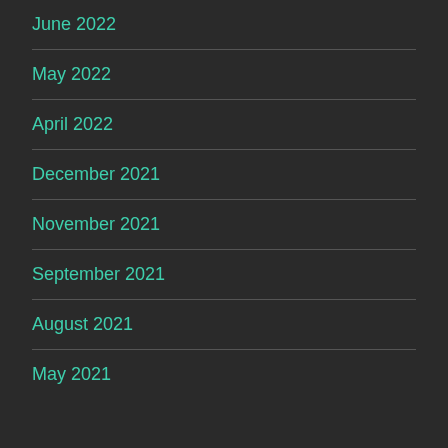June 2022
May 2022
April 2022
December 2021
November 2021
September 2021
August 2021
May 2021